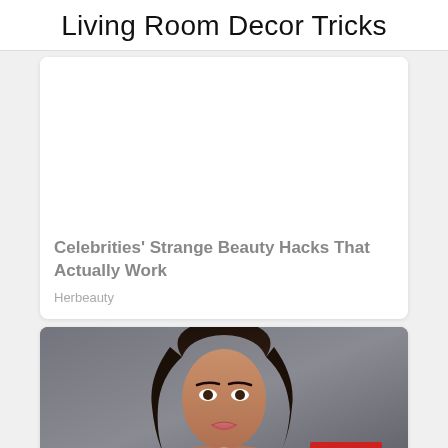Living Room Decor Tricks
[Figure (other): White blank card image placeholder area]
Celebrities' Strange Beauty Hacks That Actually Work
Herbeauty
[Figure (photo): Photo of a dark-haired woman against a grey background with a red CLOSE button overlay]